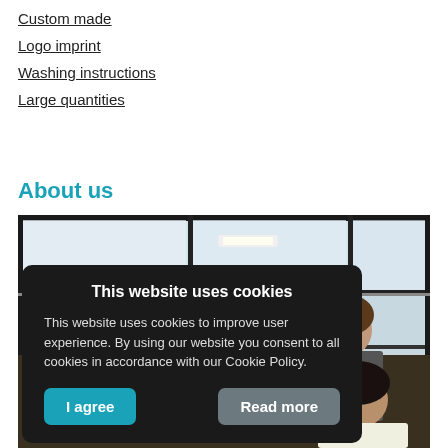Custom made
Logo imprint
Washing instructions
Large quantities
About us
[Figure (photo): Group photo of team members in a modern office with large glass windows. Three people visible: one man peeking from behind, one woman standing, one woman seated in foreground. A cookie consent banner overlays the lower portion of the image.]
This website uses cookies
This website uses cookies to improve user experience. By using our website you consent to all cookies in accordance with our Cookie Policy.
I agree  Read more